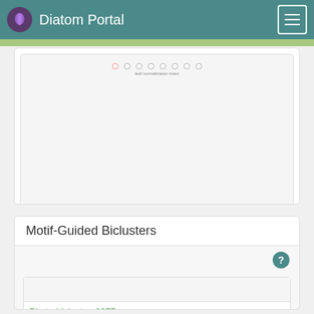Diatom Portal
[Figure (screenshot): Upper panel showing a partial chart with a small legend of dot markers and label 'leaf normalization index' on a light gray background]
Motif-Guided Biclusters
Phatr_bicluster_0077
Cluster: 0077 ptr; resid: 0.23; r/c: 26/63
[Figure (line-chart): Multi-line chart showing bicluster expression profiles with colored lines and a dashed red vertical line marking a region, y-axis starts at 2 with tick at 1]